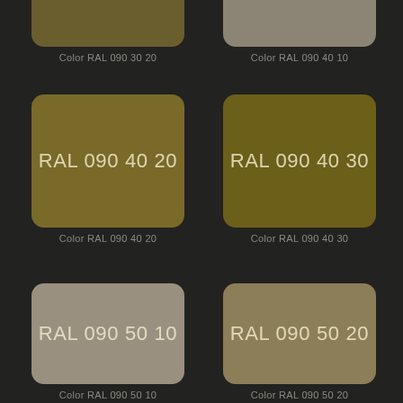[Figure (other): Color swatch for RAL 090 30 20 (partial, top-cropped), dark olive brown]
Color RAL 090 30 20
[Figure (other): Color swatch for RAL 090 40 10 (partial, top-cropped), grayish brown]
Color RAL 090 40 10
[Figure (other): Color swatch for RAL 090 40 20, medium olive brown]
Color RAL 090 40 20
[Figure (other): Color swatch for RAL 090 40 30, dark olive yellow]
Color RAL 090 40 30
[Figure (other): Color swatch for RAL 090 50 10, light grayish brown]
Color RAL 090 50 10
[Figure (other): Color swatch for RAL 090 50 20, medium tan olive]
Color RAL 090 50 20